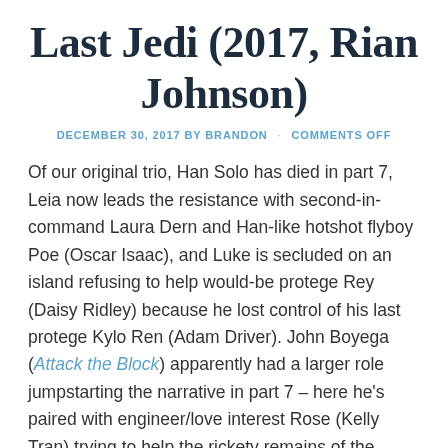Last Jedi (2017, Rian Johnson)
DECEMBER 30, 2017 BY BRANDON · COMMENTS OFF
Of our original trio, Han Solo has died in part 7, Leia now leads the resistance with second-in-command Laura Dern and Han-like hotshot flyboy Poe (Oscar Isaac), and Luke is secluded on an island refusing to help would-be protege Rey (Daisy Ridley) because he lost control of his last protege Kylo Ren (Adam Driver). John Boyega (Attack the Block) apparently had a larger role jumpstarting the narrative in part 7 – here he's paired with engineer/love interest Rose (Kelly Tran) trying to help the rickety remains of the resistance escape from Kylo and howling ham sandwich Domhnall Gleeson in their attack fleet. Benicio Del Toro